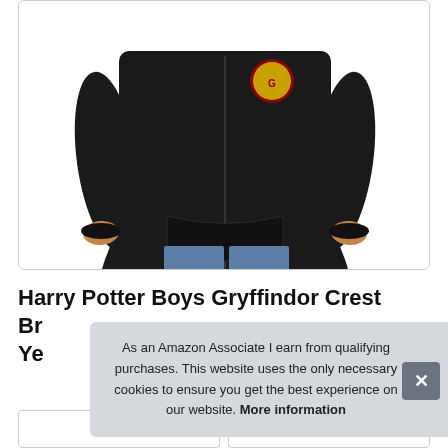[Figure (photo): Product photo of a child wearing a black Harry Potter Gryffindor zip-up hoodie sweatshirt with a crest patch on the chest, paired with blue jeans. The image shows the torso and arms of the model against a white background, inside a rounded rectangle border.]
Harry Potter Boys Gryffindor Crest Br... Ye...
As an Amazon Associate I earn from qualifying purchases. This website uses the only necessary cookies to ensure you get the best experience on our website. More information